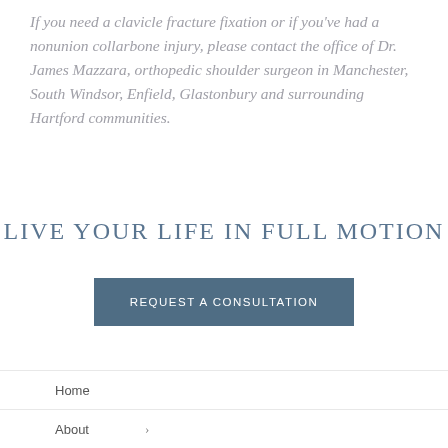If you need a clavicle fracture fixation or if you've had a nonunion collarbone injury, please contact the office of Dr. James Mazzara, orthopedic shoulder surgeon in Manchester, South Windsor, Enfield, Glastonbury and surrounding Hartford communities.
LIVE YOUR LIFE IN FULL MOTION
REQUEST A CONSULTATION
Home
About ›